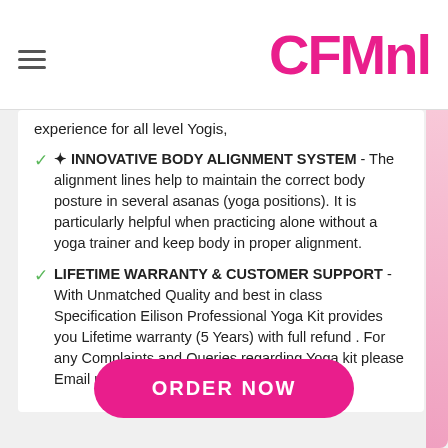CFMnl
experience for all level Yogis,
✦ INNOVATIVE BODY ALIGNMENT SYSTEM - The alignment lines help to maintain the correct body posture in several asanas (yoga positions). It is particularly helpful when practicing alone without a yoga trainer and keep body in proper alignment.
LIFETIME WARRANTY & CUSTOMER SUPPORT - With Unmatched Quality and best in class Specification Eilison Professional Yoga Kit provides you Lifetime warranty (5 Years) with full refund . For any Complaints and Queries regarding Yoga kit please Email us at customercare@eilisonglobal
ORDER NOW